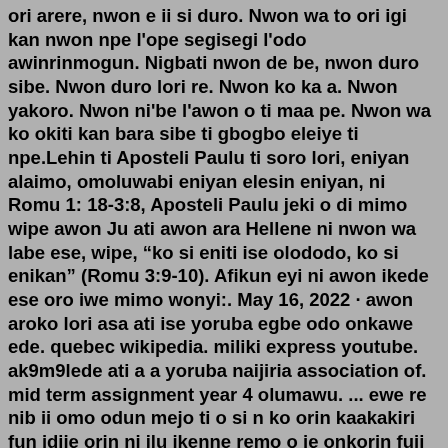ori arere, nwon e ii si duro. Nwon wa to ori igi kan nwon npe l'ope segisegi l'odo awinrinmogun. Nigbati nwon de be, nwon duro sibe. Nwon duro lori re. Nwon ko ka a. Nwon yakoro. Nwon ni'be l'awon o ti maa pe. Nwon wa ko okiti kan bara sibe ti gbogbo eleiye ti npe.Lehin ti Aposteli Paulu ti soro lori, eniyan alaimo, omoluwabi eniyan elesin eniyan, ni Romu 1: 18-3:8, Aposteli Paulu jeki o di mimo wipe awon Ju ati awon ara Hellene ni nwon wa labe ese, wipe, “ko si eniti ise olododo, ko si enikan” (Romu 3:9-10). Afikun eyi ni awon ikede ese oro iwe mimo wonyi:. May 16, 2022 · awon aroko lori asa ati ise yoruba egbe odo onkawe ede. quebec wikipedia. miliki express youtube. ak9m9lede ati a a yoruba naijiria association of. mid term assignment year 4 olumawu. ... ewe re nib ii omo odun mejo ti o si n ko orin kaakakiri fun idije orin ni ilu ikenne remo o je onkorin fuji to yato gedengbe pelu orin fuji to ma n da awon ...Meaning, translation and how to say, Ko aroko onisorogbesi Lori ijoba alagbada Sanju ijoba ologun lo in Hausa, Igbo, Pidgin, Yoruba, English| Nigerian Dictionar Find